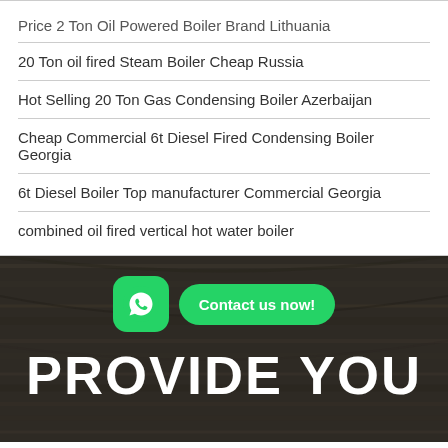Price 2 Ton Oil Powered Boiler Brand Lithuania
20 Ton oil fired Steam Boiler Cheap Russia
Hot Selling 20 Ton Gas Condensing Boiler Azerbaijan
Cheap Commercial 6t Diesel Fired Condensing Boiler Georgia
6t Diesel Boiler Top manufacturer Commercial Georgia
combined oil fired vertical hot water boiler
[Figure (infographic): Dark wood-textured background section with a WhatsApp icon (green rounded square with phone handset), a green pill-shaped button saying 'Contact us now!', and large white bold text reading 'PROVIDE YOU' at the bottom.]